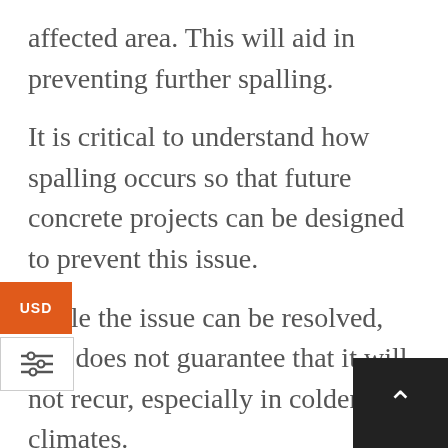affected area. This will aid in preventing further spalling.
It is critical to understand how spalling occurs so that future concrete projects can be designed to prevent this issue.
While the issue can be resolved, this does not guarantee that it will not recur, especially in colder climates.
Cracking can also develop if control joints are not properly installed, independent of the